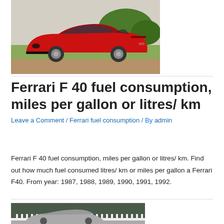[Figure (photo): Red Ferrari F40 sports car parked on a driveway]
Ferrari F 40 fuel consumption, miles per gallon or litres/ km
Leave a Comment / Ferrari fuel consumption / By admin
Ferrari F 40 fuel consumption, miles per gallon or litres/ km. Find out how much fuel consumed litres/ km or miles per gallon a Ferrari F40. From year: 1987, 1988, 1989, 1990, 1991, 1992.
[Figure (photo): Silver/gray car parked near a white picket fence]